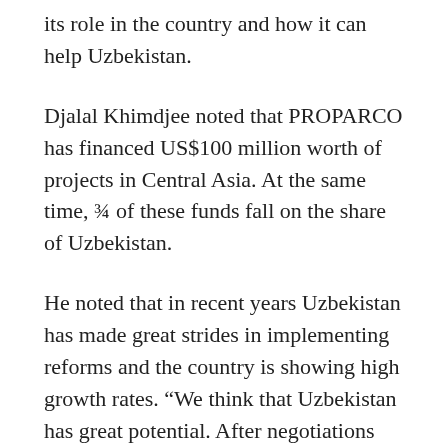its role in the country and how it can help Uzbekistan.
Djalal Khimdjee noted that PROPARCO has financed US$100 million worth of projects in Central Asia. At the same time, ¾ of these funds fall on the share of Uzbekistan.
He noted that in recent years Uzbekistan has made great strides in implementing reforms and the country is showing high growth rates. “We think that Uzbekistan has great potential. After negotiations with our local partners, we came to the conclusion that we have the potential to expand our presence in Uzbekistan”, he added.
In the next three years, PROPARCO plans to triple its